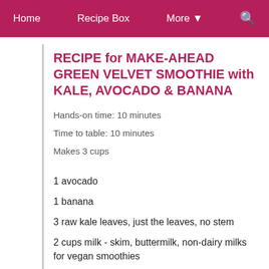Home   Recipe Box   More ▾   🔍
RECIPE for MAKE-AHEAD GREEN VELVET SMOOTHIE with KALE, AVOCADO & BANANA
Hands-on time: 10 minutes
Time to table: 10 minutes
Makes 3 cups
1 avocado
1 banana
3 raw kale leaves, just the leaves, no stem
2 cups milk - skim, buttermilk, non-dairy milks for vegan smoothies
Juice of half a lemon (important, don't skip)